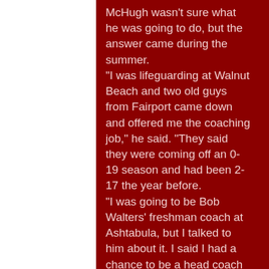McHugh wasn't sure what he was going to do, but the answer came during the summer. "I was lifeguarding at Walnut Beach and two old guys from Fairport came down and offered me the coaching job," he said. "They said they were coming off an 0-19 season and had been 2-17 the year before. "I was going to be Bob Walters' freshman coach at Ashtabula, but I talked to him about it. I said I had a chance to be a head coach at 22 and he said to take it." He brought the Skippers back to respectability despite playing against great small school teams like Kirtland and Lutheran East. Fairport went 9-12,